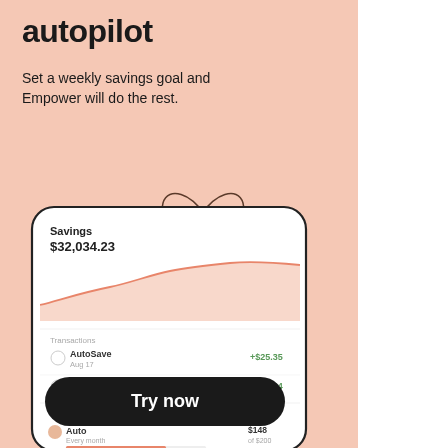autopilot
Set a weekly savings goal and Empower will do the rest.
[Figure (screenshot): Mobile app screenshot showing Savings balance of $32,034.23 with a line chart, transactions (AutoSave Aug 17 +$25.35, AutoSave Aug 10 +$16.84), Trackers section (Auto every month $148 of $200, Shopping every month $97 of $200), with a decorative ribbon/bow illustration on top]
Try now